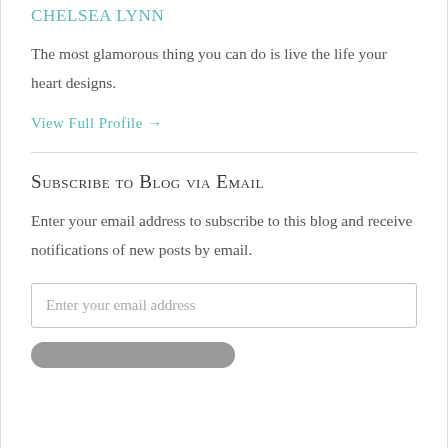Chelsea Lynn
The most glamorous thing you can do is live the life your heart designs.
View Full Profile →
Subscribe to Blog via Email
Enter your email address to subscribe to this blog and receive notifications of new posts by email.
Enter your email address